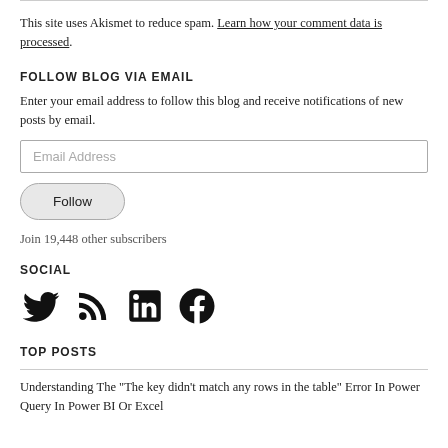This site uses Akismet to reduce spam. Learn how your comment data is processed.
FOLLOW BLOG VIA EMAIL
Enter your email address to follow this blog and receive notifications of new posts by email.
Email Address
Follow
Join 19,448 other subscribers
SOCIAL
[Figure (illustration): Social media icons: Twitter bird, RSS feed, LinkedIn, Facebook]
TOP POSTS
Understanding The "The key didn't match any rows in the table" Error In Power Query In Power BI Or Excel